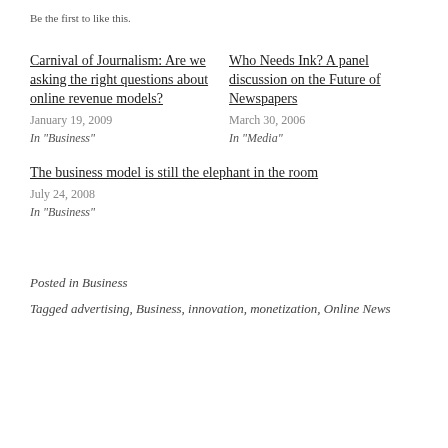Be the first to like this.
Carnival of Journalism: Are we asking the right questions about online revenue models?
January 19, 2009
In "Business"
Who Needs Ink? A panel discussion on the Future of Newspapers
March 30, 2006
In "Media"
The business model is still the elephant in the room
July 24, 2008
In "Business"
Posted in Business
Tagged advertising, Business, innovation, monetization, Online News